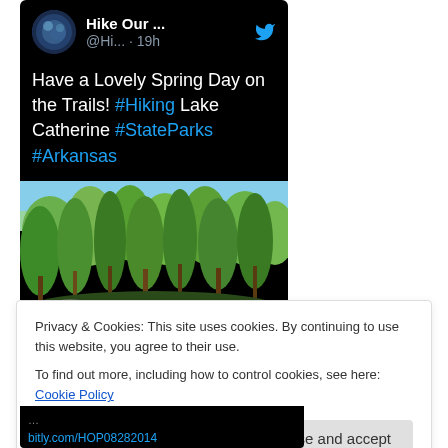[Figure (screenshot): Twitter/social media post screenshot with dark background. Header shows avatar, username 'Hike Our ...' with handle '@Hi... · 19h' and Twitter bird icon. Tweet text reads: 'Have a Lovely Spring Day on the Trails! #Hiking Lake Catherine #StateParks #Arkansas'. Below is a forest/nature photo showing green trees and foliage.]
Privacy & Cookies: This site uses cookies. By continuing to use this website, you agree to their use.
To find out more, including how to control cookies, see here: Cookie Policy
Close and accept
bitly.com/HOP08282014